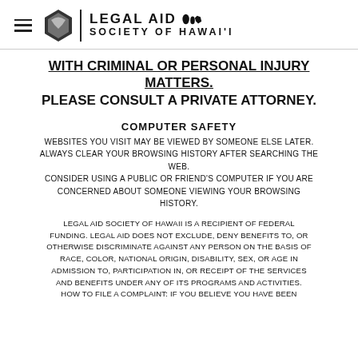LEGAL AID SOCIETY OF HAWAI'I
WITH CRIMINAL OR PERSONAL INJURY MATTERS.
PLEASE CONSULT A PRIVATE ATTORNEY.
COMPUTER SAFETY
WEBSITES YOU VISIT MAY BE VIEWED BY SOMEONE ELSE LATER. ALWAYS CLEAR YOUR BROWSING HISTORY AFTER SEARCHING THE WEB. CONSIDER USING A PUBLIC OR FRIEND'S COMPUTER IF YOU ARE CONCERNED ABOUT SOMEONE VIEWING YOUR BROWSING HISTORY.
LEGAL AID SOCIETY OF HAWAII IS A RECIPIENT OF FEDERAL FUNDING. LEGAL AID DOES NOT EXCLUDE, DENY BENEFITS TO, OR OTHERWISE DISCRIMINATE AGAINST ANY PERSON ON THE BASIS OF RACE, COLOR, NATIONAL ORIGIN, DISABILITY, SEX, OR AGE IN ADMISSION TO, PARTICIPATION IN, OR RECEIPT OF THE SERVICES AND BENEFITS UNDER ANY OF ITS PROGRAMS AND ACTIVITIES. HOW TO FILE A COMPLAINT: IF YOU BELIEVE YOU HAVE BEEN